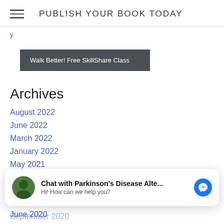PUBLISH YOUR BOOK TODAY
y
[Figure (other): Dark grey banner button: Walk Better! Free SkillShare Class]
Archives
August 2022
June 2022
March 2022
January 2022
May 2021
March 2021
January 2021
December 2020
September 2020
[Figure (other): Chat overlay widget: Chat with Parkinson's Disease Alte... Hi! How can we help you? with avatar and Messenger icon]
June 2020